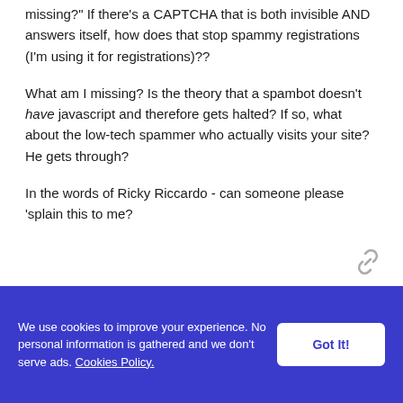missing?" If there's a CAPTCHA that is both invisible AND answers itself, how does that stop spammy registrations (I'm using it for registrations)??
What am I missing? Is the theory that a spambot doesn't have javascript and therefore gets halted? If so, what about the low-tech spammer who actually visits your site? He gets through?
In the words of Ricky Riccardo - can someone please 'splain this to me?
[Figure (other): Link/chain icon in gray]
We use cookies to improve your experience. No personal information is gathered and we don't serve ads. Cookies Policy.